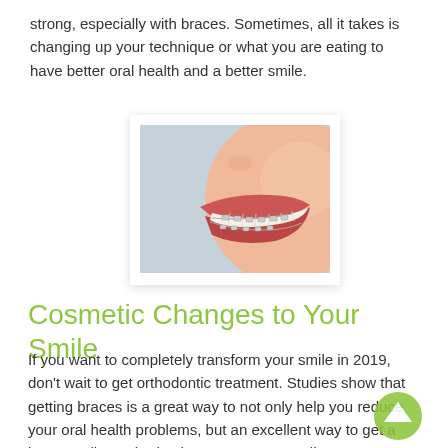strong, especially with braces. Sometimes, all it takes is changing up your technique or what you are eating to have better oral health and a better smile.
[Figure (photo): Close-up photo of a smiling person showing teeth with dental braces on a light grey background]
Cosmetic Changes to Your Smile
If you want to completely transform your smile in 2019, don't wait to get orthodontic treatment. Studies show that getting braces is a great way to not only help you reduce your oral health problems, but an excellent way to get a better smile. Orthodontic treatment generally